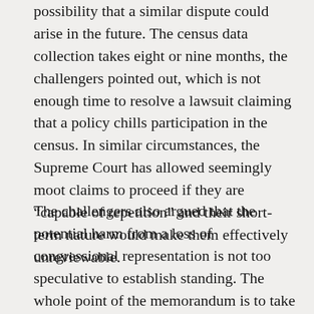possibility that a similar dispute could arise in the future. The census data collection takes eight or nine months, the challengers pointed out, which is not enough time to resolve a lawsuit claiming that a policy chills participation in the census. In similar circumstances, the Supreme Court has allowed seemingly moot claims to proceed if they are “capable of repetition” and their short-term nature would make them effectively unreviewable.
The challengers also argued that the potential harm from a loss of congressional representation is not too speculative to establish standing. The whole point of the memorandum is to take away seats in the House from states that have, relatively speaking, more residents who are not in the country legally. This is not a theoretical harm, the challengers told the justices, because the Trump administration has